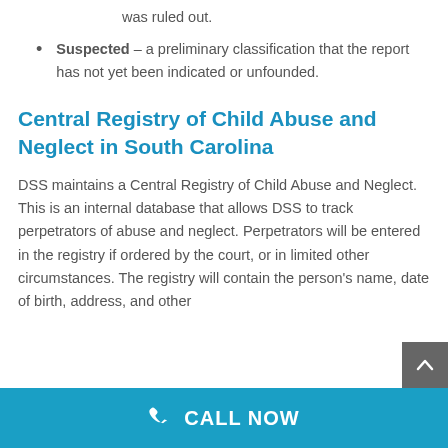was ruled out.
Suspected – a preliminary classification that the report has not yet been indicated or unfounded.
Central Registry of Child Abuse and Neglect in South Carolina
DSS maintains a Central Registry of Child Abuse and Neglect. This is an internal database that allows DSS to track perpetrators of abuse and neglect. Perpetrators will be entered in the registry if ordered by the court, or in limited other circumstances. The registry will contain the person's name, date of birth, address, and other
CALL NOW